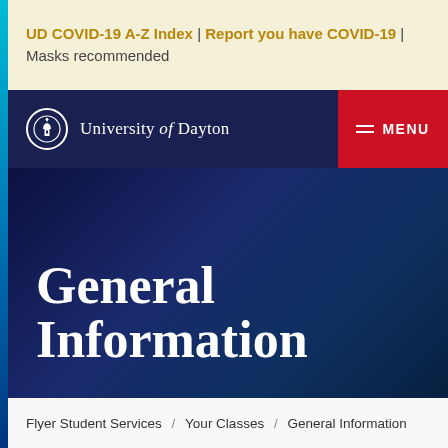UD COVID-19 A-Z Index | Report you have COVID-19 | Masks recommended
University of Dayton — MENU
General Information
Flyer Student Services / Your Classes / General Information